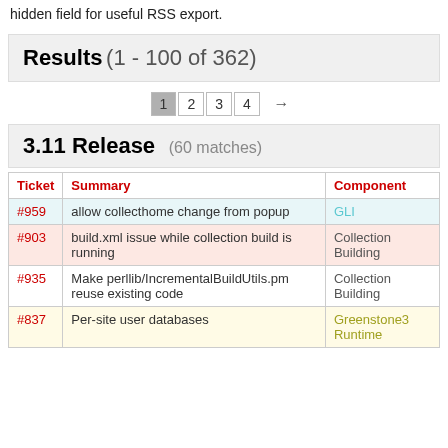hidden field for useful RSS export.
Results (1 - 100 of 362)
1 2 3 4 →
3.11 Release (60 matches)
| Ticket | Summary | Component |
| --- | --- | --- |
| #959 | allow collecthome change from popup | GLI |
| #903 | build.xml issue while collection build is running | Collection Building |
| #935 | Make perllib/IncrementalBuildUtils.pm reuse existing code | Collection Building |
| #837 | Per-site user databases | Greenstone3 Runtime |